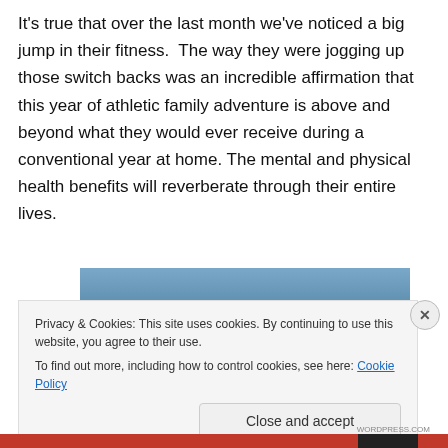It's true that over the last month we've noticed a big jump in their fitness.  The way they were jogging up those switch backs was an incredible affirmation that this year of athletic family adventure is above and beyond what they would ever receive during a conventional year at home. The mental and physical health benefits will reverberate through their entire lives.
[Figure (photo): Partially visible outdoor photo showing blue sky and landscape/terrain at the bottom, cropped by cookie consent banner]
Privacy & Cookies: This site uses cookies. By continuing to use this website, you agree to their use.
To find out more, including how to control cookies, see here: Cookie Policy
Close and accept